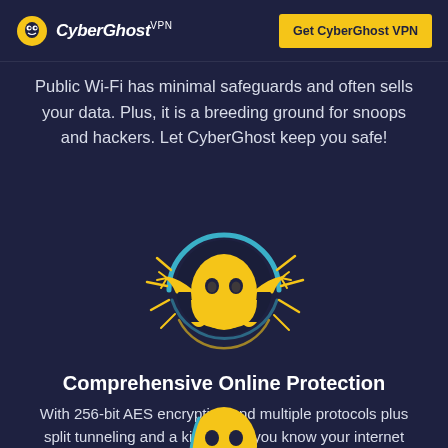CyberGhost VPN | Get CyberGhost VPN
Public Wi-Fi has minimal safeguards and often sells your data. Plus, it is a breeding ground for snoops and hackers. Let CyberGhost keep you safe!
[Figure (illustration): CyberGhost mascot - a yellow ghost character with angry eyes breaking through a blue circle, with lightning bolt rays around it on a dark navy background]
Comprehensive Online Protection
With 256-bit AES encryption and multiple protocols plus split tunneling and a kill switch, you know your internet connected is completely protected.
[Figure (illustration): Partial view of the CyberGhost mascot (yellow ghost head) at the bottom of the page, partially cut off]